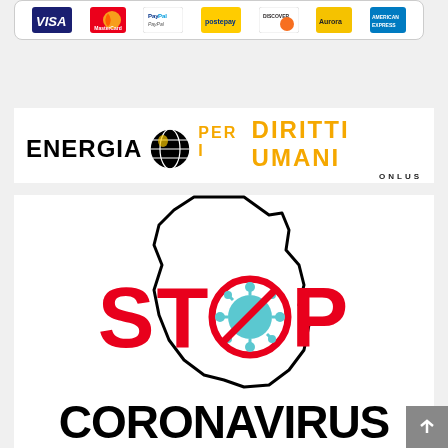[Figure (logo): Payment methods logos: Visa, MasterCard, PayPal, Postepay, Discover, Aurora, American Express]
[Figure (logo): Energia per i Diritti Umani ONLUS logo with globe icon]
[Figure (illustration): Stop Coronavirus campaign graphic with Africa outline, STOP text in red with coronavirus icon replacing the O, and CORONAVIRUS text in black below]